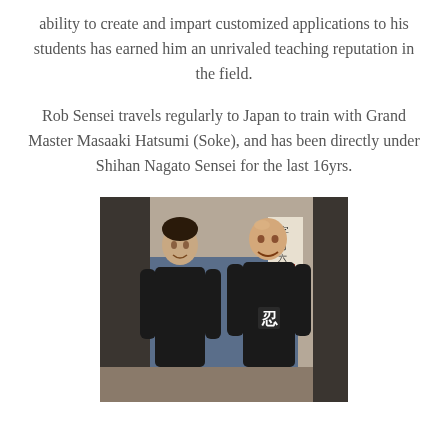ability to create and impart customized applications to his students has earned him an unrivaled teaching reputation in the field.
Rob Sensei travels regularly to Japan to train with Grand Master Masaaki Hatsumi (Soke), and has been directly under Shihan Nagato Sensei for the last 16yrs.
[Figure (photo): Two men standing side by side, both wearing black t-shirts. The man on the left is Asian, and the man on the right is bald and wearing a t-shirt with a Japanese kanji character on it. They appear to be in a martial arts dojo or training hall with a blue wall and posters in the background.]